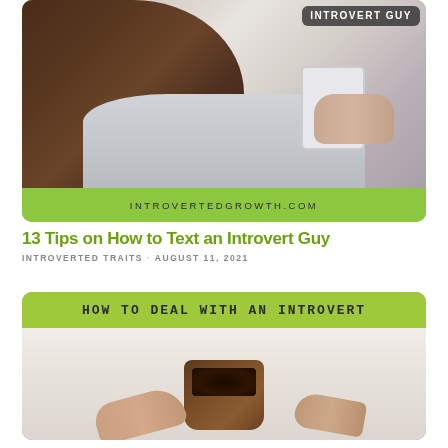[Figure (photo): Woman holding a white smartphone, with text overlay 'INTROVERT GUY' on dark background in top right, and URL 'INTROVERTEDGROWTH.COM' in green bar at bottom of image card]
13 Tips on How to Text an Introvert Guy
INTROVERTED TRAITS · AUGUST 11, 2021
[Figure (photo): Green banner reading 'HOW TO DEAL WITH AN INTROVERT' above a photo of hands holding a dark mug of coffee on white cloth]